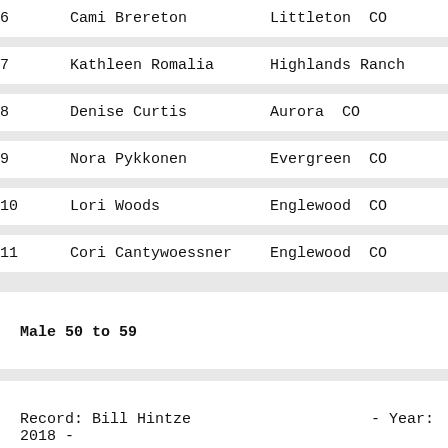| # | Name | Location |
| --- | --- | --- |
| 6 | Cami Brereton | Littleton  CO |
| 7 | Kathleen Romalia | Highlands Ranch |
| 8 | Denise Curtis | Aurora  CO |
| 9 | Nora Pykkonen | Evergreen  CO |
| 10 | Lori Woods | Englewood  CO |
| 11 | Cori Cantywoessner | Englewood  CO |
Male 50 to 59
Record: Bill Hintze    - Year: 2018 -